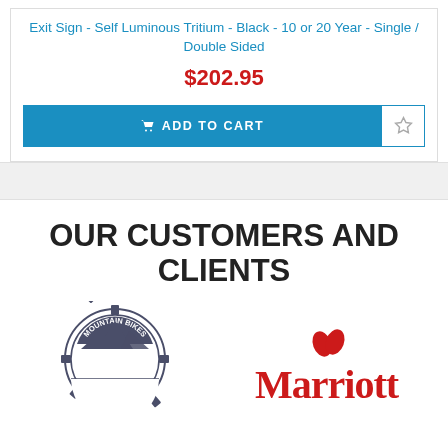Exit Sign - Self Luminous Tritium - Black - 10 or 20 Year - Single / Double Sided
$202.95
[Figure (screenshot): Add to Cart button (blue) with cart icon and wishlist star button]
OUR CUSTOMERS AND CLIENTS
[Figure (logo): Mountain Bikes circular badge logo with mountain peaks]
[Figure (logo): Marriott hotel logo in red]